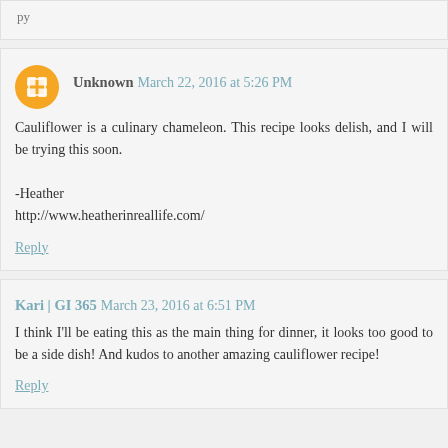partial top comment (cropped)
Unknown March 22, 2016 at 5:26 PM
Cauliflower is a culinary chameleon. This recipe looks delish, and I will be trying this soon.

-Heather
http://www.heatherinreallife.com/
Reply
Kari | GI 365 March 23, 2016 at 6:51 PM
I think I'll be eating this as the main thing for dinner, it looks too good to be a side dish! And kudos to another amazing cauliflower recipe!
Reply